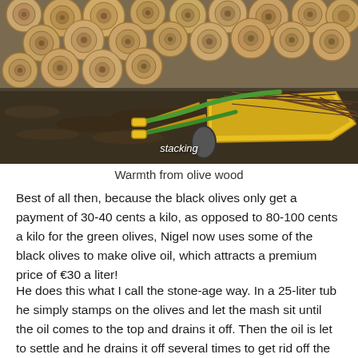[Figure (photo): Outdoor scene showing a yellow wheelbarrow filled with branches and twigs, with a green garden hose visible, in front of a neatly stacked woodpile of cut logs. Ground covered with dark mulch/hay. The word 'stacking' appears as a caption overlay on the photo.]
Warmth from olive wood
Best of all then, because the black olives only get a payment of 30-40 cents a kilo, as opposed to 80-100 cents a kilo for the green olives, Nigel now uses some of the black olives to make olive oil, which attracts a premium price of €30 a liter!
He does this what I call the stone-age way. In a 25-liter tub he simply stamps on the olives and let the mash sit until the oil comes to the top and drains it off. Then the oil is let to settle and he drains it off several times to get rid off the organic